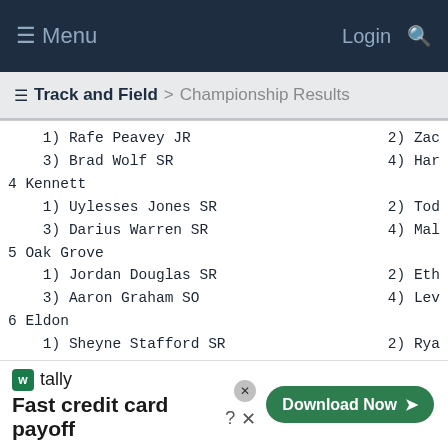≡ Menu   Login 🔍
≡ Track and Field > Championship Results
1) Rafe Peavey JR    2) Zac
    3) Brad Wolf SR     4) Har
4 Kennett
    1) Uylesses Jones SR    2) Tod
    3) Darius Warren SR     4) Mal
5 Oak Grove
    1) Jordan Douglas SR    2) Eth
    3) Aaron Graham SO      4) Lev
6 Eldon
    1) Sheyne Stafford SR     2) Rya
    3) Trevor McClelland SR  4) Bla
7 McCluer South-Berkeley
    1) Brandon Bryant JR    2) Dav
    3) Andre Crump JR       4) Deo
8 Liberty North
    1) Bry Moffet SO    2) Mar
tally Fast credit card payoff   Download Now →